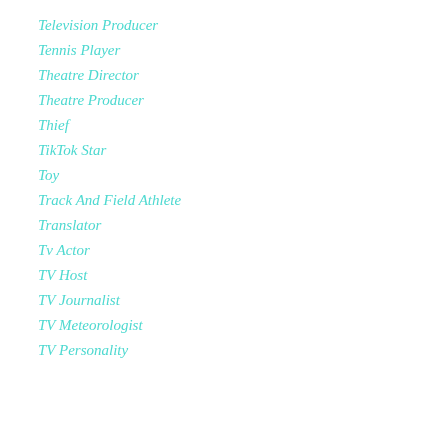Television Producer
Tennis Player
Theatre Director
Theatre Producer
Thief
TikTok Star
Toy
Track And Field Athlete
Translator
Tv Actor
TV Host
TV Journalist
TV Meteorologist
TV Personality